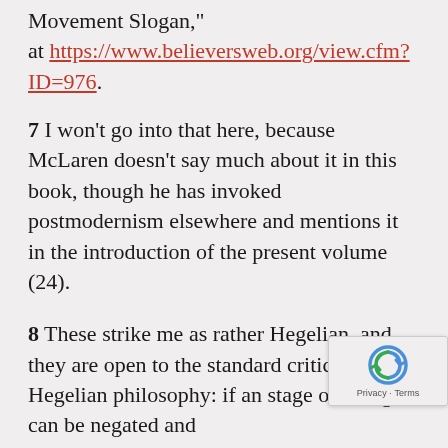...ally, the C-S "History of an American Movement Slogan," at https://www.believersweb.org/view.cfm?ID=976.
7 I won't go into that here, because McLaren doesn't say much about it in this book, though he has invoked postmodernism elsewhere and mentions it in the introduction of the present volume (24).
8 These strike me as rather Hegelian, and they are open to the standard criticism of Hegelian philosophy: if an stage of thought can be negated and ...